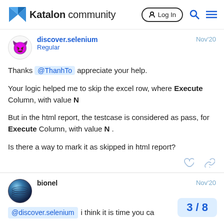Katalon community  Log In
discover.selenium
Regular
Nov'20
Thanks @ThanhTo appreciate your help.

Your logic helped me to skip the excel row, where Execute Column, with value N

But in the html report, the testcase is considered as pass, for Execute Column, with value N .

Is there a way to mark it as skipped in html report?
bionel
Nov'20
@discover.selenium i think it is time you ca
3 / 8